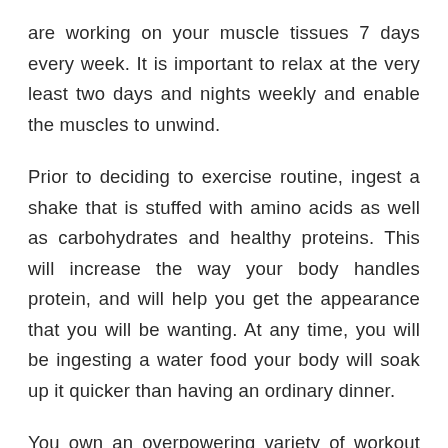are working on your muscle tissues 7 days every week. It is important to relax at the very least two days and nights weekly and enable the muscles to unwind.
Prior to deciding to exercise routine, ingest a shake that is stuffed with amino acids as well as carbohydrates and healthy proteins. This will increase the way your body handles protein, and will help you get the appearance that you will be wanting. At any time, you will be ingesting a water food your body will soak up it quicker than having an ordinary dinner.
You own an overpowering variety of workout machines or plans that you should try out. It is usually an easy task to overlook that does not all strategies work well